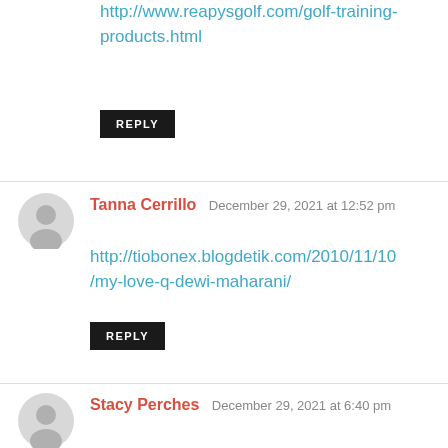http://www.reapysgolf.com/golf-training-products.html
REPLY
Tanna Cerrillo  December 29, 2021 at 12:52 pm
http://tiobonex.blogdetik.com/2010/11/10/my-love-q-dewi-maharani/
REPLY
Stacy Perches  December 29, 2021 at 6:40 pm